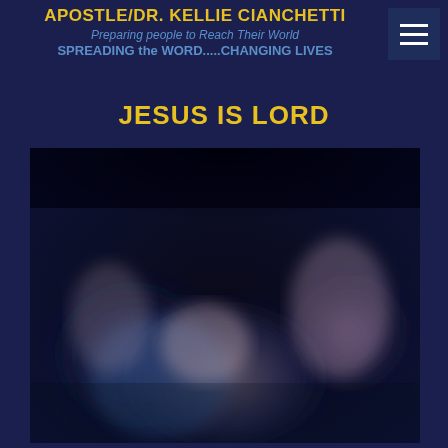APOSTLE/DR. KELLIE CIANCHETTI
Preparing people to Reach Their World
SPREADING the WORD.....CHANGING LIVES
JESUS IS LORD
[Figure (photo): Blurred photograph of people in worship, dark blue and purple tones, figures with hands raised in a dimly lit setting]